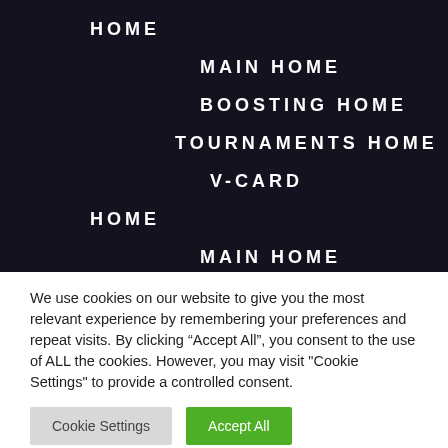HOME
MAIN HOME
BOOSTING HOME
TOURNAMENTS HOME
V-CARD
HOME
MAIN HOME
We use cookies on our website to give you the most relevant experience by remembering your preferences and repeat visits. By clicking “Accept All”, you consent to the use of ALL the cookies. However, you may visit "Cookie Settings" to provide a controlled consent.